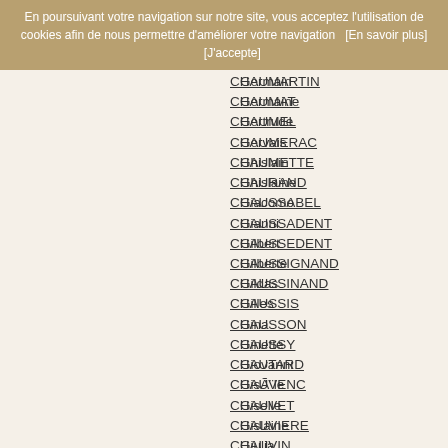En poursuivant votre navigation sur notre site, vous acceptez l'utilisation de cookies afin de nous permettre d'améliorer votre navigation   [En savoir plus]        [J'accepte]
CHAUMARTIN — Germain
CHAUMAT — Germaine
CHAUMEL — Gertrude
CHAUMERAC — Gervais
CHAUMETTE — Ghislain
CHAURAND — Ghislaine
CHAUSSABEL — Giacomo
CHAUSSADENT — Gianni
CHAUSSEDENT — Gilbert
CHAUSSIGNAND — Gilberte
CHAUSSINAND — Gildas
CHAUSSIS — Gilles
CHAUSSON — Gina
CHAUSSY — Ginette
CHAUTARD — Giovanni
CHAUVENC — Gisèle
CHAUVET — Giselle
CHAUVIERE — Gislaine
CHAUVIN — Giulia
CHAUVIS — Giulian
CHAUVY — Giulio
CHAVAGNEUX — Gloria